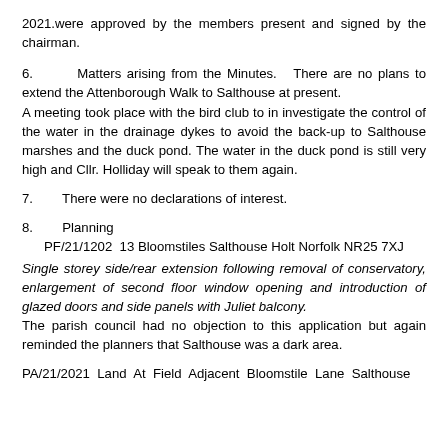2021.were approved by the members present and signed by the chairman.
6.      Matters arising from the Minutes.   There are no plans to extend the Attenborough Walk to Salthouse at present.
A meeting took place with the bird club to in investigate the control of the water in the drainage dykes to avoid the back-up to Salthouse marshes and the duck pond. The water in the duck pond is still very high and Cllr. Holliday will speak to them again.
7.      There were no declarations of interest.
8.      Planning
            PF/21/1202  13 Bloomstiles Salthouse Holt Norfolk NR25 7XJ
Single storey side/rear extension following removal of conservatory, enlargement of second floor window opening and introduction of glazed doors and side panels with Juliet balcony.
The parish council had no objection to this application but again reminded the planners that Salthouse was a dark area.
PA/21/2021  Land At Field Adjacent Bloomstile Lane Salthouse